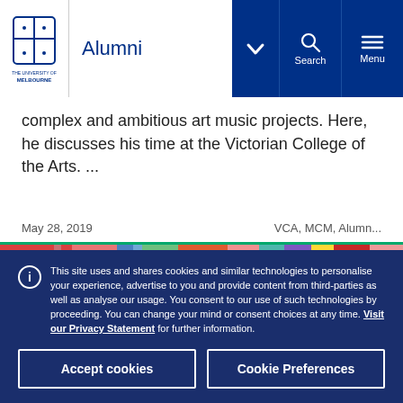Alumni | University of Melbourne navigation header with Search and Menu buttons
complex and ambitious art music projects. Here, he discusses his time at the Victorian College of the Arts. ...
May 28, 2019    VCA, MCM, Alumn...
[Figure (photo): Colourful abstract artwork strip in reds, blues, greens and pinks]
This site uses and shares cookies and similar technologies to personalise your experience, advertise to you and provide content from third-parties as well as analyse our usage. You consent to our use of such technologies by proceeding. You can change your mind or consent choices at any time. Visit our Privacy Statement for further information.
Accept cookies
Cookie Preferences